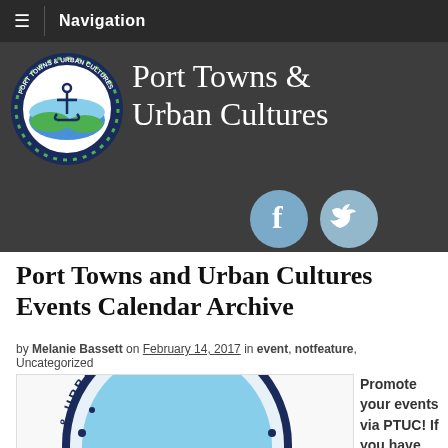Navigation
[Figure (logo): Port Towns & Urban Cultures header banner with logo (anchor in circular badge), title text 'Port Towns & Urban Cultures', and Facebook/Twitter social icons]
Port Towns and Urban Cultures Events Calendar Archive
by Melanie Bassett on February 14, 2017 in event, notfeature, Uncategorized
[Figure (logo): Port Towns & Urban Cultures circular logo (partial, cropped) showing 'S & URBAN CULTUR' text arc]
Promote your events via PTUC! If you have